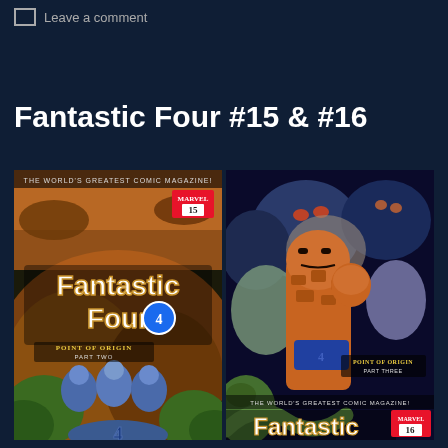Leave a comment
Fantastic Four #15 & #16
[Figure (photo): Two comic book covers side by side. Left: Fantastic Four #15 showing the team in spacesuits on an alien world with the FF logo, subtitle 'Point of Origin Part Two'. Right: Fantastic Four #16 showing The Thing fighting monsters on an alien world, subtitle 'Point of Origin Part Three', partially cropped at bottom.]